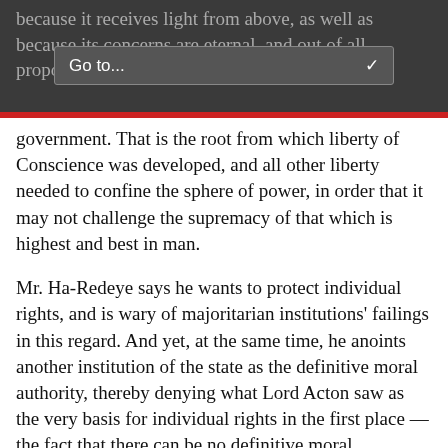because it receives light from above, as well as because its concerns are eternal, and out of all proportion with the common interests of
government. That is the root from which liberty of Conscience was developed, and all other liberty needed to confine the sphere of power, in order that it may not challenge the supremacy of that which is highest and best in man.
Mr. Ha-Redeye says he wants to protect individual rights, and is wary of majoritarian institutions' failings in this regard. And yet, at the same time, he anoints another institution of the state as the definitive moral authority, thereby denying what Lord Acton saw as the very basis for individual rights in the first place — the fact that there can be no definitive moral authorities (at least on Earth) outside of each person's conscience. Mr. Ha-Redeye claims that states and nations, if not also majorities, enjoy “the sublime prerogative” of “the knowledge of good and evil”. But if they do, why would they not impose their views on the citizens (or rather, the subjects) — by inquisitorial means if need be?